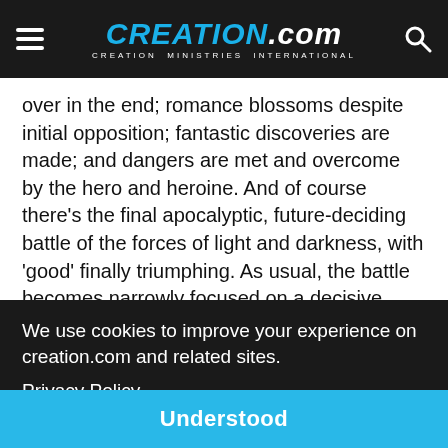CREATION.com — CREATION MINISTRIES INTERNATIONAL
over in the end; romance blossoms despite initial opposition; fantastic discoveries are made; and dangers are met and overcome by the hero and heroine. And of course there’s the final apocalyptic, future-deciding battle of the forces of light and darkness, with ‘good’ finally triumphing. As usual, the battle becomes narrowly focused on a decisive, personal clash between the
We use cookies to improve your experience on creation.com and related sites.
Privacy Policy
Understood
be the blogosphere reaction to it, including in the